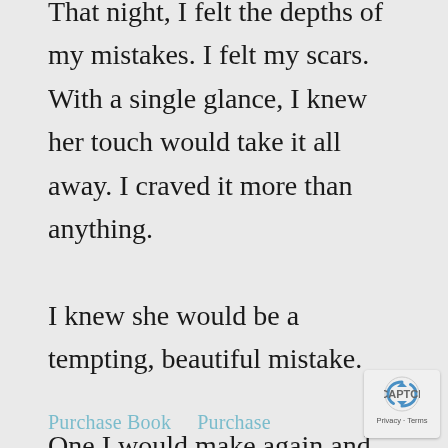That night, I felt the depths of my mistakes. I felt my scars. With a single glance, I knew her touch would take it all away. I craved it more than anything.

I knew she would be a tempting, beautiful mistake.

One I would make again and again... even if it cost me everything.
Purchase Book    Purchase